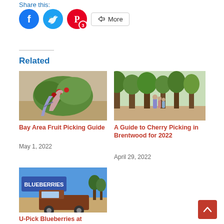Share this:
[Figure (illustration): Social share buttons: Facebook (blue circle), Twitter (cyan circle), Pinterest (red circle with badge '3'), and a More button with share icon]
Related
[Figure (photo): Child's hand picking berries from a plant in a garden]
Bay Area Fruit Picking Guide
May 1, 2022
[Figure (photo): Family walking between rows of trees in an orchard]
A Guide to Cherry Picking in Brentwood for 2022
April 29, 2022
[Figure (photo): Vintage brown truck with a Blueberries sign in the background under blue sky]
U-Pick Blueberries at Duckworth Family Farm